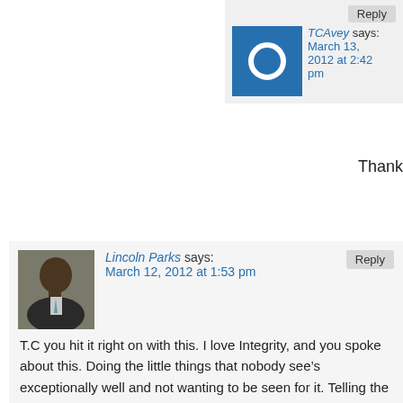[Figure (photo): TCAvey avatar - blue square with white circle/ring icon]
TCAvey says: March 13, 2012 at 2:42 pm
Thank
[Figure (photo): Lincoln Parks avatar - photo of a man in a suit]
Lincoln Parks says: March 12, 2012 at 1:53 pm
T.C you hit it right on with this. I love Integrity, and you spoke about this. Doing the little things that nobody see’s exceptionally well and not wanting to be seen for it. Telling the truth when it could be so easy to not tell the truth. Its an integrity thing, excellent post.